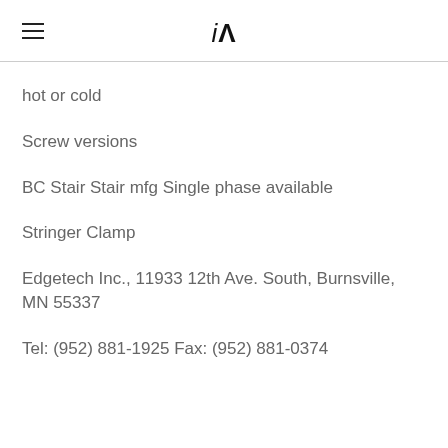iA
hot or cold
Screw versions
BC Stair Stair mfg Single phase available
Stringer Clamp
Edgetech Inc., 11933 12th Ave. South, Burnsville, MN 55337
Tel: (952) 881-1925 Fax: (952) 881-0374